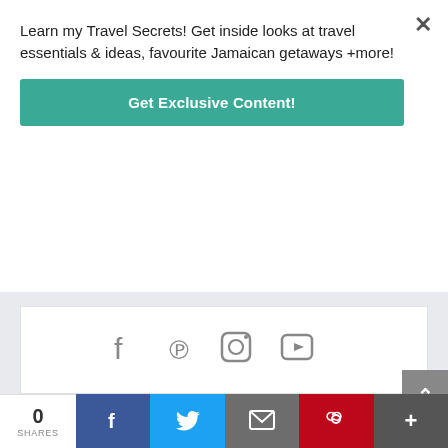Learn my Travel Secrets! Get inside looks at travel essentials & ideas, favourite Jamaican getaways +more!
Get Exclusive Content!
[Figure (other): Social media icons: Facebook, Pinterest, Instagram, YouTube]
8 COMMENTS
Sandy on February 11, 2021 at 1:07 am
How could I get in touch with Mr. Mckenzie, the
0 SHARES | Facebook | Twitter | Email | Pinterest | +